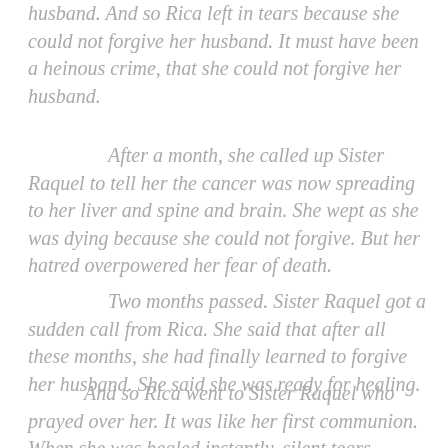husband. And so Rica left in tears because she could not forgive her husband. It must have been a heinous crime, that she could not forgive her husband.
After a month, she called up Sister Raquel to tell her the cancer was now spreading to her liver and spine and brain. She wept as she was dying because she could not forgive. But her hatred overpowered her fear of death.
Two months passed. Sister Raquel got a sudden call from Rica. She said that after all these months, she had finally learned to forgive her husband. She said she was ready for healing.
And so Rica went to Sister Raquel who prayed over her. It was like her first communion. When she was healed instantly, silent tears flowed. Suddenly, the cancer